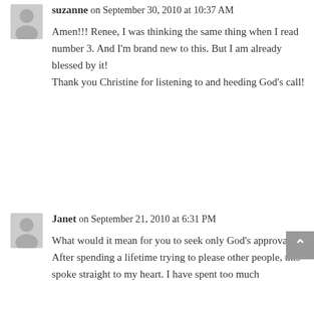suzanne on September 30, 2010 at 10:37 AM
Amen!!! Renee, I was thinking the same thing when I read number 3. And I'm brand new to this. But I am already blessed by it!
Thank you Christine for listening to and heeding God's call!
Janet on September 21, 2010 at 6:31 PM
What would it mean for you to seek only God's approval? After spending a lifetime trying to please other people, this spoke straight to my heart. I have spent too much